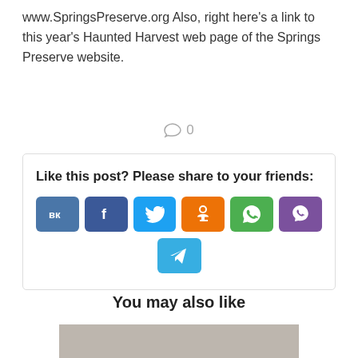www.SpringsPreserve.org Also, right here's a link to this year's Haunted Harvest web page of the Springs Preserve website.
0
Like this post? Please share to your friends:
[Figure (infographic): Social sharing buttons: VK (blue), Facebook (dark blue), Twitter (light blue), Odnoklassniki (orange), WhatsApp (green), Viber (purple), Telegram (blue)]
You may also like
[Figure (photo): Gray placeholder image]